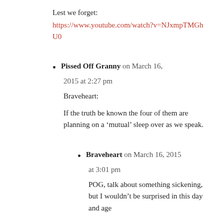Lest we forget:
https://www.youtube.com/watch?v=NJxmpTMGhU0
Pissed Off Granny on March 16, 2015 at 2:27 pm

Braveheart:

If the truth be known the four of them are planning on a 'mutual' sleep over as we speak.
Braveheart on March 16, 2015 at 3:01 pm

POG, talk about something sickening, but I wouldn't be surprised in this day and age